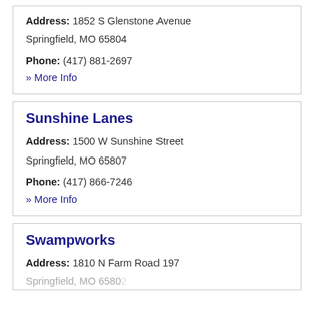Address: 1852 S Glenstone Avenue
Springfield, MO 65804
Phone: (417) 881-2697
» More Info
Sunshine Lanes
Address: 1500 W Sunshine Street
Springfield, MO 65807
Phone: (417) 866-7246
» More Info
Swampworks
Address: 1810 N Farm Road 197
Springfield, MO 65802